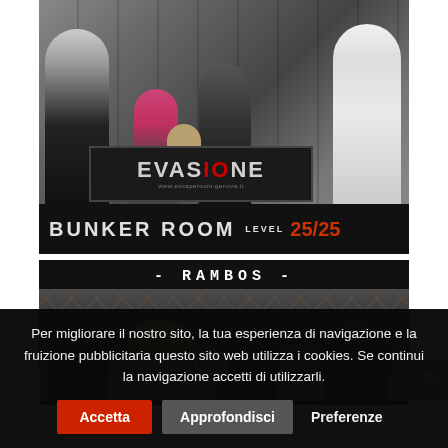[Figure (photo): Family photo inside an escape room. Adults and children holding an EVASIONE sign. Text at bottom: BUNKER ROOM LEVEL 25/25 with website www.escaperoom-genova.it]
[Figure (photo): Group photo labeled RAMBOS showing four people in front of an escape room set with industrial/bunker decor.]
Per migliorare il nostro sito, la tua esperienza di navigazione e la fruizione pubblicitaria questo sito web utilizza i cookies. Se continui la navigazione accetti di utilizzarli.